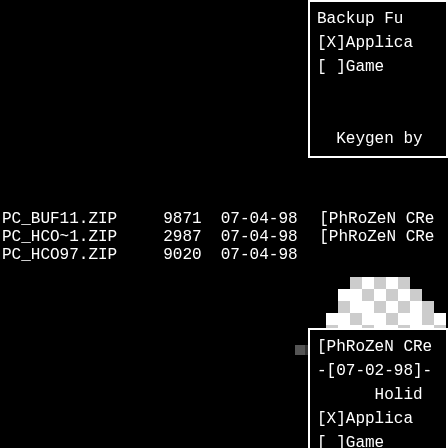Backup Fu
[X]Applica
[ ]Game

Keygen by
| Filename | Size | Date | Info |
| --- | --- | --- | --- |
| PC_BUF11.ZIP | 9871 | 07-04-98 | [PhRoZeN CRe |
| PC_HCO~1.ZIP | 2987 | 07-04-98 | [PhRoZeN CRe |
| PC_HCO97.ZIP | 9020 | 07-04-98 |  |
[Figure (illustration): Pixelated logo/mascot image in black, white and grey pixel art style]
[PhRoZeN CRe
-[07-02-98]-
        Holid
[X]Applica
[ ]Game


      Serial by